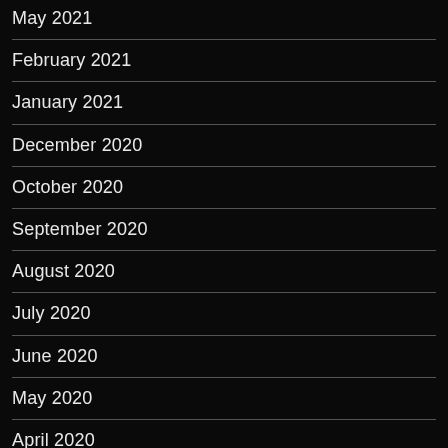May 2021
February 2021
January 2021
December 2020
October 2020
September 2020
August 2020
July 2020
June 2020
May 2020
April 2020
March 2020
January 2020